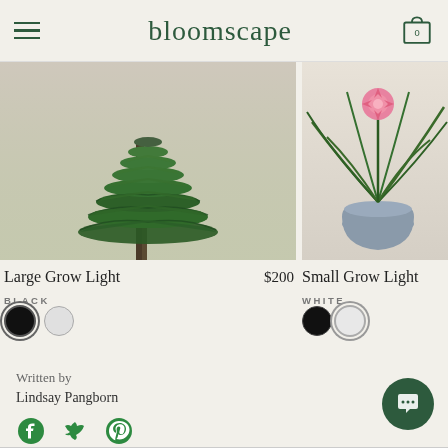bloomscape
[Figure (photo): A Norfolk Island pine plant with lush green feathery branches against a beige/cream background — product photo for Large Grow Light]
[Figure (photo): A spiky bromeliad/air plant with a pink flower in a gray-blue pot against a cream background — product photo for Small Grow Light]
Large Grow Light   $200
BLACK
Small Grow Light
WHITE
Written by
Lindsay Pangborn